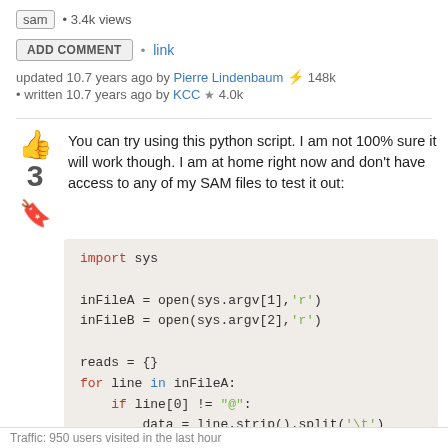sam • 3.4k views
ADD COMMENT • link
updated 10.7 years ago by Pierre Lindenbaum ⚡ 148k
• written 10.7 years ago by KCC ★ 4.0k
You can try using this python script. I am not 100% sure it will work though. I am at home right now and don't have access to any of my SAM files to test it out:
import sys

inFileA = open(sys.argv[1],'r')
inFileB = open(sys.argv[2],'r')

reads = {}
for line in inFileA:
    if line[0] != "@":
        data = line.strip().split('\t')
        data[0]